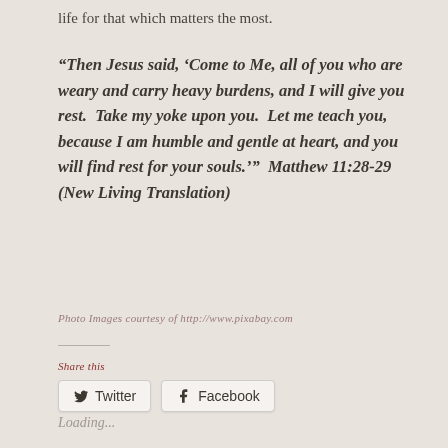life for that which matters the most.
“Then Jesus said, ‘Come to Me, all of you who are weary and carry heavy burdens, and I will give you rest.  Take my yoke upon you.  Let me teach you, because I am humble and gentle at heart, and you will find rest for your souls.’”  Matthew 11:28-29 (New Living Translation)
Photo Images courtesy of http://www.pixabay.com
Share this
Twitter
Facebook
Loading...